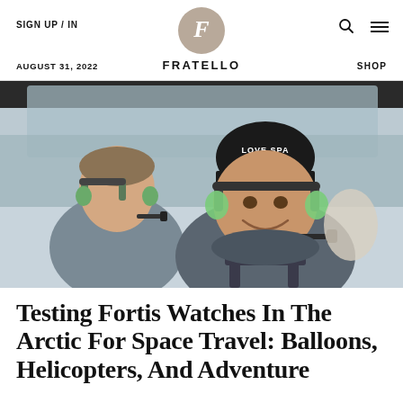SIGN UP/IN  FRATELLO  AUGUST 31, 2022  SHOP
[Figure (photo): Two people wearing headsets and harnesses inside a helicopter or aircraft, smiling at the camera. One wears a black beanie hat with 'LOVE SPACE' text. Snowy/wintry background visible through windows.]
Testing Fortis Watches In The Arctic For Space Travel: Balloons, Helicopters, And Adventure